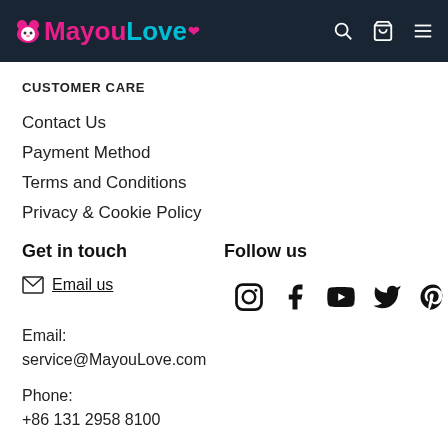MayouLove
CUSTOMER CARE
Contact Us
Payment Method
Terms and Conditions
Privacy & Cookie Policy
Get in touch
Follow us
Email us
Email:
service@MayouLove.com
Phone:
+86 131 2958 8100
Address:
1419, Building B, Kaixuan Tianxi
Mingting, No. 68 Jinli Road